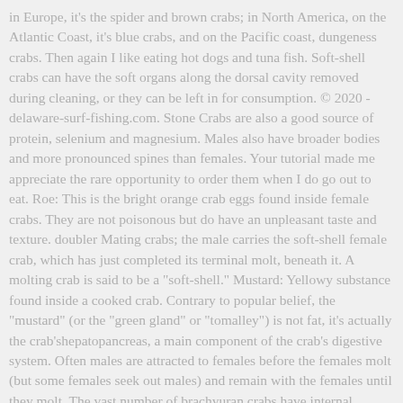in Europe, it's the spider and brown crabs; in North America, on the Atlantic Coast, it's blue crabs, and on the Pacific coast, dungeness crabs. Then again I like eating hot dogs and tuna fish. Soft-shell crabs can have the soft organs along the dorsal cavity removed during cleaning, or they can be left in for consumption. © 2020 - delaware-surf-fishing.com. Stone Crabs are also a good source of protein, selenium and magnesium. Males also have broader bodies and more pronounced spines than females. Your tutorial made me appreciate the rare opportunity to order them when I do go out to eat. Roe: This is the bright orange crab eggs found inside female crabs. They are not poisonous but do have an unpleasant taste and texture. doubler Mating crabs; the male carries the soft-shell female crab, which has just completed its terminal molt, beneath it. A molting crab is said to be a "soft-shell." Mustard: Yellowy substance found inside a cooked crab. Contrary to popular belief, the "mustard" (or the "green gland" or "tomalley") is not fat, it's actually the crab'shepatopancreas, a main component of the crab's digestive system. Often males are attracted to females before the females molt (but some females seek out males) and remain with the females until they molt. The vast number of brachyuran crabs have internal fertilisation and mate belly-to-belly. DNREC to Temporarily Close